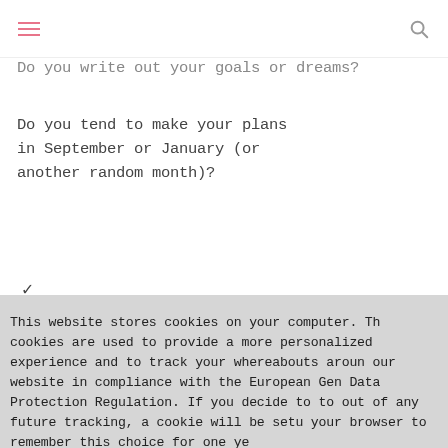[hamburger menu icon] [search icon]
Do you write out your goals or dreams?
Do you tend to make your plans in September or January (or another random month)?
This website stores cookies on your computer. These cookies are used to provide a more personalized experience and to track your whereabouts around our website in compliance with the European General Data Protection Regulation. If you decide to to opt out of any future tracking, a cookie will be setup in your browser to remember this choice for one year.
Accept or Deny